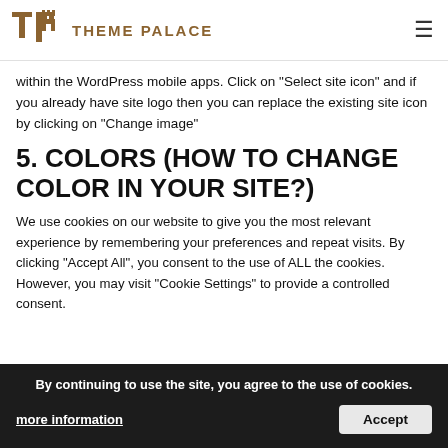THEME PALACE
within the WordPress mobile apps. Click on “Select site icon” and if you already have site logo then you can replace the existing site icon by clicking on “Change image”
5.  COLORS (HOW TO CHANGE COLOR IN YOUR SITE?)
We use cookies on our website to give you the most relevant experience by remembering your preferences and repeat visits. By clicking “Accept All”, you consent to the use of ALL the cookies. However, you may visit "Cookie Settings" to provide a controlled consent.
By continuing to use the site, you agree to the use of cookies.
more information
Accept